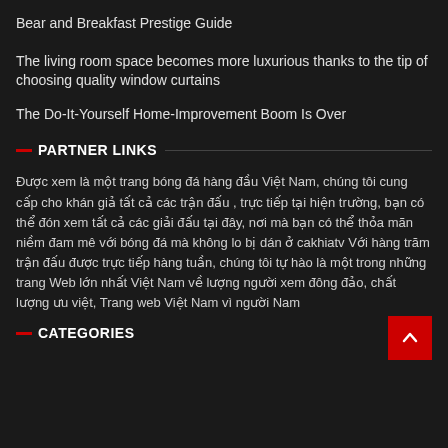Bear and Breakfast Prestige Guide
The living room space becomes more luxurious thanks to the tip of choosing quality window curtains
The Do-It-Yourself Home-Improvement Boom Is Over
— PARTNER LINKS
Được xem là một trang bóng đá hàng đầu Việt Nam, chúng tôi cung cấp cho khán giả tất cả các trận đấu , trực tiếp tại hiện trường, bạn có thể đón xem tất cả các giải đấu tại đây, nơi mà bạn có thể thỏa mãn niềm đam mê với bóng đá mà không lo bị dán ở cakhiatv Với hàng trăm trận đấu được trực tiếp hàng tuần, chúng tôi tự hào là một trong những trang Web lớn nhất Việt Nam về lượng người xem đông đảo, chất lượng ưu việt, Trang web Việt Nam vì người Nam
— CATEGORIES